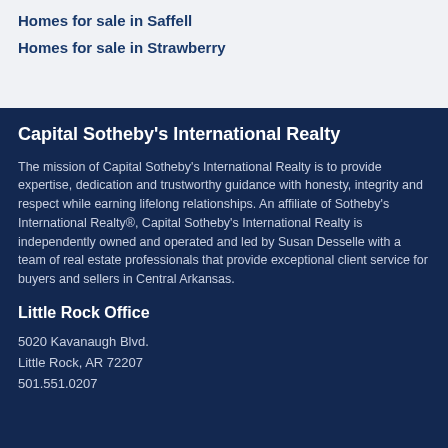Homes for sale in Saffell
Homes for sale in Strawberry
Capital Sotheby's International Realty
The mission of Capital Sotheby's International Realty is to provide expertise, dedication and trustworthy guidance with honesty, integrity and respect while earning lifelong relationships. An affiliate of Sotheby's International Realty®, Capital Sotheby's International Realty is independently owned and operated and led by Susan Desselle with a team of real estate professionals that provide exceptional client service for buyers and sellers in Central Arkansas.
Little Rock Office
5020 Kavanaugh Blvd.
Little Rock, AR 72207
501.551.0207